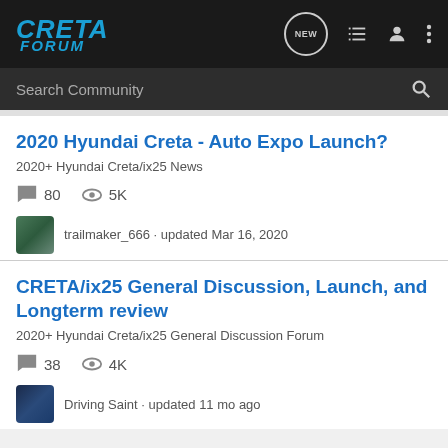CRETA FORUM
Search Community
2020 Hyundai Creta - Auto Expo Launch?
2020+ Hyundai Creta/ix25 News
80  5K
trailmaker_666 · updated Mar 16, 2020
CRETA/ix25 General Discussion, Launch, and Longterm review
2020+ Hyundai Creta/ix25 General Discussion Forum
38  4K
Driving Saint · updated 11 mo ago